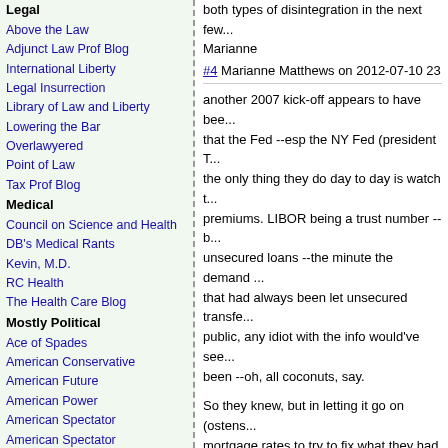Legal
Above the Law
Adjunct Law Prof Blog
International Liberty
Legal Insurrection
Library of Law and Liberty
Lowering the Bar
Overlawyered
Point of Law
Tax Prof Blog
Medical
Council on Science and Health
DB's Medical Rants
Kevin, M.D.
RC Health
The Health Care Blog
Mostly Political
Ace of Spades
American Conservative
American Future
American Power
American Spectator
American Spectator
Arnold Kling's blog
Belmont Club
Big Government
Bookworm Room
Cato at Liberty
Conservatism Today
Daily Pundit
Democracy
Dinocrat
Don Surber
Doug Ross Journal
Dumb Still Looks Free
Ed Driscoll
Environmental Republican
both types of disintegration in the next few... Marianne
#4 Marianne Matthews on 2012-07-10 23
another 2007 kick-off appears to have been... that the Fed --esp the NY Fed (president T... the only thing they do day to day is watch t... premiums. LIBOR being a trust number --b... unsecured loans --the minute the demand... that had always been let unsecured transfe... public, any idiot with the info would've see... been --oh, all coconuts, say.
So they knew, but in letting it go on (ostens... mortgage rates to try to fix what they had d... important, most reliable economic health s... most especially the rate in the open or sec... working, is not telling the truth about confid... now no one knew but the fixers, and the re... as FSA.
This is tactically akin to getting more and m... 50%? 70%? --higher thabn 2008?) so that... pay true value for the treasury's long pape... others) to cut hard or go bust, there'll be pl... the street gobbling up the entire American...
Here's a wonderfully-presented straw-in-th... Turner of FSA, who said then he would inv... said "oh my, what a distinct surprise".